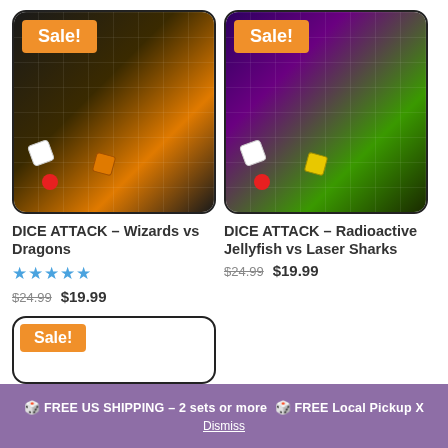[Figure (photo): Product image of DICE ATTACK Wizards vs Dragons board game with orange Sale! badge]
DICE ATTACK – Wizards vs Dragons
★★★★★
$24.99 $19.99
[Figure (photo): Product image of DICE ATTACK Radioactive Jellyfish vs Laser Sharks board game with orange Sale! badge]
DICE ATTACK – Radioactive Jellyfish vs Laser Sharks
$24.99 $19.99
[Figure (photo): Partially visible third product card with orange Sale! badge]
🎲 FREE US SHIPPING – 2 sets or more 🎲 FREE Local Pickup X Dismiss